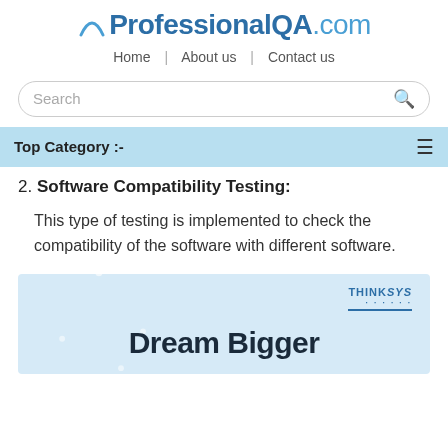ProfessionalQA.com
Home | About us | Contact us
Search
Top Category :-
2. Software Compatibility Testing:
This type of testing is implemented to check the compatibility of the software with different software.
[Figure (screenshot): ThinkSys advertisement banner with hexagonal background pattern and 'Dream Bigger' text]